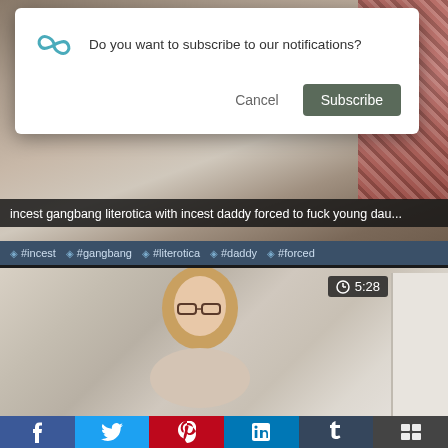[Figure (screenshot): Website notification dialog overlay on a video thumbnail asking 'Do you want to subscribe to our notifications?' with Cancel and Subscribe buttons. Below is a video title bar reading 'incest gangbang literotica with incest daddy forced to fuck young dau...' and a tags bar with tags: #incest #gangbang #literotica #daddy #forced. A second video thumbnail below shows a woman with glasses and long blonde hair sitting in a room. A social sharing bar at the bottom contains Facebook, Twitter, Pinterest, LinkedIn, Tumblr, and a share icon.]